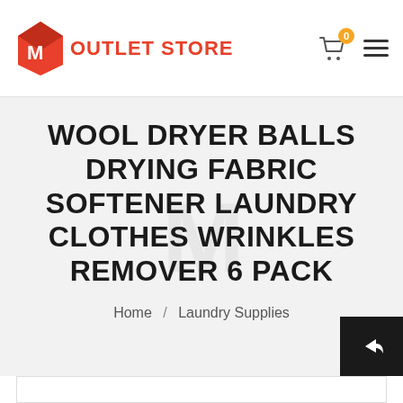OUTLET STORE
WOOL DRYER BALLS DRYING FABRIC SOFTENER LAUNDRY CLOTHES WRINKLES REMOVER 6 PACK
Home / Laundry Supplies
[Figure (screenshot): Product image placeholder box with border at bottom of page]